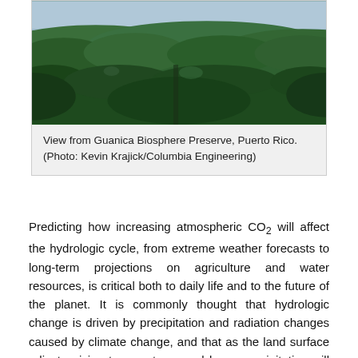[Figure (photo): Aerial or elevated view of dense tropical forest with hills and ocean visible in the background under overcast sky — Guanica Biosphere Preserve, Puerto Rico.]
View from Guanica Biosphere Preserve, Puerto Rico. (Photo: Kevin Krajick/Columbia Engineering)
Predicting how increasing atmospheric CO2 will affect the hydrologic cycle, from extreme weather forecasts to long-term projections on agriculture and water resources, is critical both to daily life and to the future of the planet. It is commonly thought that hydrologic change is driven by precipitation and radiation changes caused by climate change, and that as the land surface adjusts, rising temperatures and lower precipitation will make the planet drier.